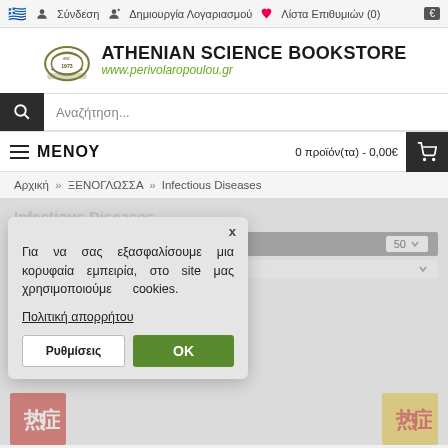🇬🇷 Σύνδεση   Δημιουργία Λογαριασμού   Λίστα Επιθυμιών (0) €
[Figure (logo): Athenian Science Bookstore logo with scroll icon, est. 1973, and URL www.perivolaropoulou.gr]
Αναζήτηση...
ΜΕΝΟΥ   0 προϊόν(τα) - 0,00€
Αρχική » ΞΕΝΟΓΛΩΣΣΑ » Infectious Diseases
Infectious Diseases
Για να σας εξασφαλίσουμε μια κορυφαία εμπειρία, στο site μας χρησιμοποιούμε cookies.
Πολιτική απορρήτου
Ρυθμίσεις   OK